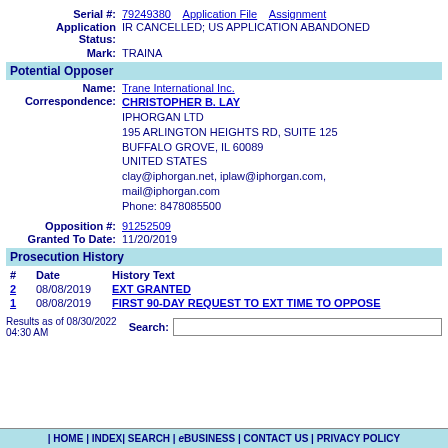Serial #: 79249380   Application File   Assignment
Application Status: IR CANCELLED; US APPLICATION ABANDONED
Mark: TRAINA
Potential Opposer
Name: Trane International Inc.
Correspondence: CHRISTOPHER B. LAY
IPHORGAN LTD
195 ARLINGTON HEIGHTS RD, SUITE 125
BUFFALO GROVE, IL 60089
UNITED STATES
clay@iphorgan.net, iplaw@iphorgan.com, mail@iphorgan.com
Phone: 8478085500
Opposition #: 91252509
Granted To Date: 11/20/2019
Prosecution History
| # | Date | History Text |
| --- | --- | --- |
| 2 | 08/08/2019 | EXT GRANTED |
| 1 | 08/08/2019 | FIRST 90-DAY REQUEST TO EXT TIME TO OPPOSE |
Results as of 08/30/2022 04:30 AM   Search:
| HOME | INDEX| SEARCH | eBUSINESS | CONTACT US | PRIVACY POLICY